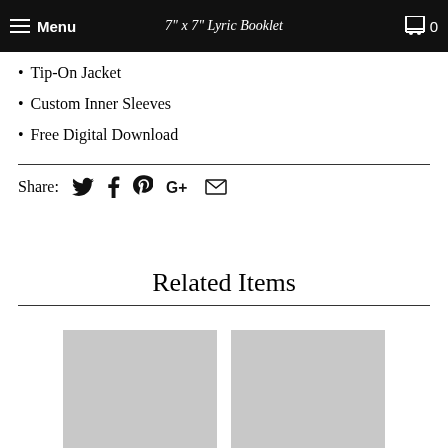Menu  7" x 7" Lyric Booklet  0
Tip-On Jacket
Custom Inner Sleeves
Free Digital Download
Share: [Twitter] [Facebook] [Pinterest] [Google+] [Email]
Related Items
[Figure (photo): Placeholder thumbnail image 1 (light gray)]
[Figure (photo): Placeholder thumbnail image 2 (light gray)]